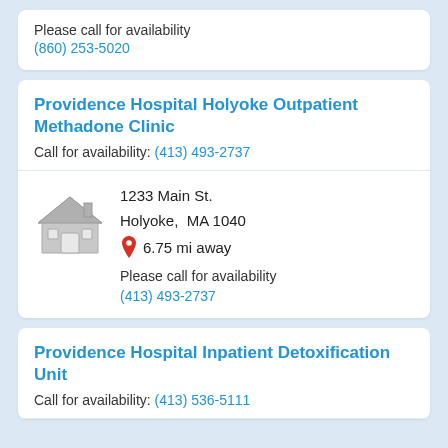Please call for availability
(860) 253-5020
Providence Hospital Holyoke Outpatient Methadone Clinic
Call for availability: (413) 493-2737
1233 Main St.
Holyoke, MA 1040
6.75 mi away
Please call for availability
(413) 493-2737
Providence Hospital Inpatient Detoxification Unit
Call for availability: (413) 536-5111